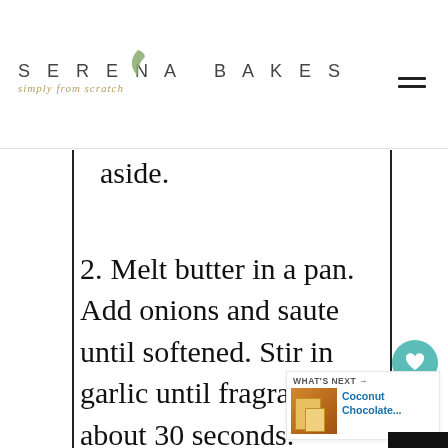Serena Bakes Simply from Scratch
1. Preheat oven to 375 degrees. Butter a 9"x13" pan, and set aside.
2. Melt butter in a pan. Add onions and saute until softened. Stir in garlic until fragrant about 30 seconds. Sprinkle flour over the top and whisk to coat. Cook flour mixture for about a minute while stirring.